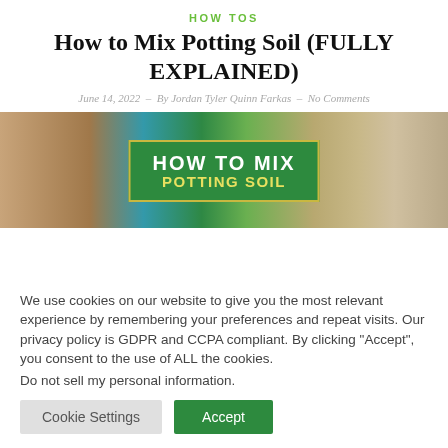HOW TOS
How to Mix Potting Soil (FULLY EXPLAINED)
June 14, 2022  –  By Jordan Tyler Quinn Farkas  –  No Comments
[Figure (photo): Hero image showing hands mixing potting soil with a green overlay box reading HOW TO MIX]
We use cookies on our website to give you the most relevant experience by remembering your preferences and repeat visits. Our privacy policy is GDPR and CCPA compliant. By clicking “Accept”, you consent to the use of ALL the cookies.
Do not sell my personal information.